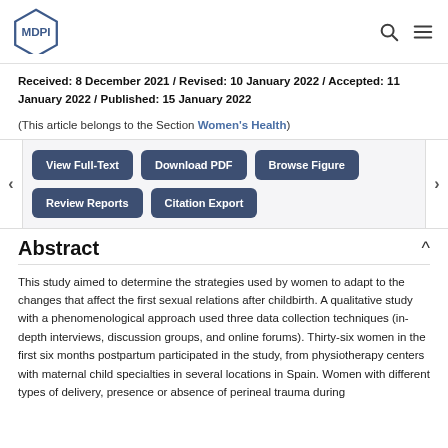MDPI
Received: 8 December 2021 / Revised: 10 January 2022 / Accepted: 11 January 2022 / Published: 15 January 2022
(This article belongs to the Section Women's Health)
View Full-Text | Download PDF | Browse Figure | Review Reports | Citation Export
Abstract
This study aimed to determine the strategies used by women to adapt to the changes that affect the first sexual relations after childbirth. A qualitative study with a phenomenological approach used three data collection techniques (in-depth interviews, discussion groups, and online forums). Thirty-six women in the first six months postpartum participated in the study, from physiotherapy centers with maternal child specialties in several locations in Spain. Women with different types of delivery, presence or absence of perineal trauma during